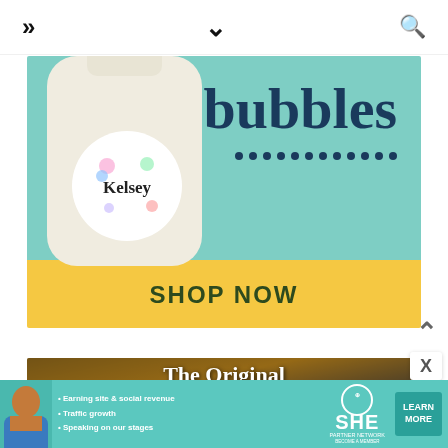» ∨ 🔍
[Figure (photo): Advertisement: Bubbles brand product - a cream/white bottle with a floral 'Kelsey' label on a teal background, with 'bubbles' text and dotted decoration, and a yellow 'SHOP NOW' button at the bottom]
[Figure (photo): Advertisement: Cookware advertisement showing food cooking in a black hard-anodized pan on a stovetop, with text 'The Original Hard-Anodized Cookware']
[Figure (infographic): SHE Partner Network banner advertisement featuring a woman, bullet points 'Earning site & social revenue', 'Traffic growth', 'Speaking on our stages', SHE Partner Network logo, and a 'LEARN MORE / BECOME A MEMBER' button]